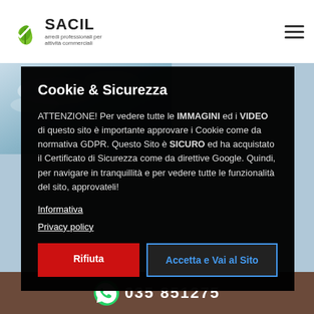[Figure (logo): SACIL logo with green leaf icon and tagline 'arredi professionali per attività commerciali']
[Figure (photo): Partial blue sky/outdoor photo in upper left background]
Cookie & Sicurezza
ATTENZIONE! Per vedere tutte le IMMAGINI ed i VIDEO di questo sito è importante approvare i Cookie come da normativa GDPR. Questo Sito è SICURO ed ha acquistato il Certificato di Sicurezza come da direttive Google. Quindi, per navigare in tranquillità e per vedere tutte le funzionalità del sito, approvateli!
Informativa
Privacy policy
Rifiuta
Accetta e Vai al Sito
035 851275